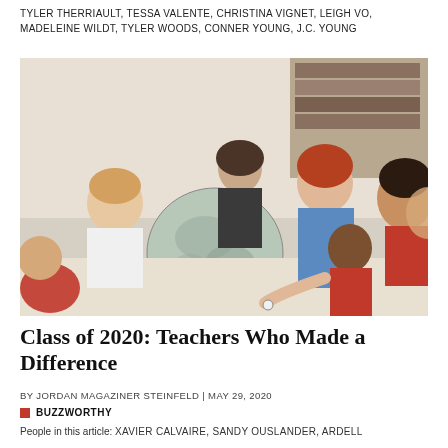TYLER THERRIAULT, TESSA VALENTE, CHRISTINA VIGNET, LEIGH VO, MADELEINE WILDT, TYLER WOODS, CONNER YOUNG, J.C. YOUNG
[Figure (photo): A female teacher with red hair sits on the floor with a group of children gathered around a globe in a classroom setting.]
Class of 2020: Teachers Who Made a Difference
BY JORDAN MAGAZINER STEINFELD | MAY 29, 2020
BUZZWORTHY
People in this article: XAVIER CALVAIRE, SANDY OUSLANDER, ARDELL